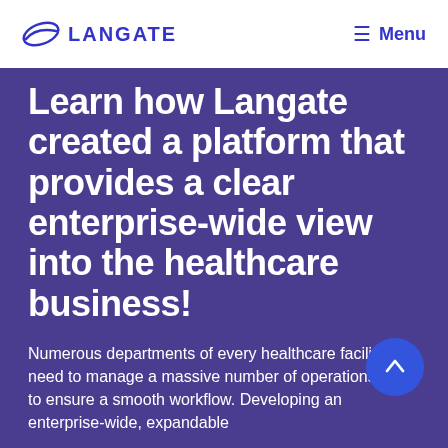[Figure (logo): Langate company logo with crescent/wing swoosh icon in blue and bold LANGATE text in blue]
Menu
Learn how Langate created a platform that provides a clear enterprise-wide view into the healthcare business!
Numerous departments of every healthcare facility need to manage a massive number of operations daily to ensure a smooth workflow. Developing an enterprise-wide, expandable